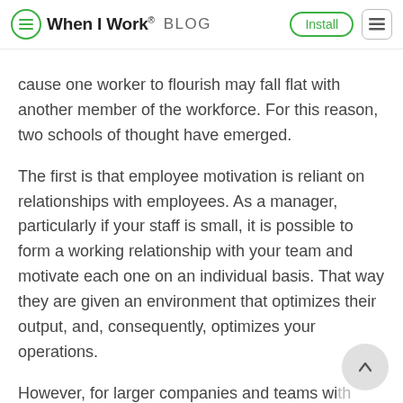When I Work® BLOG | Install
cause one worker to flourish may fall flat with another member of the workforce. For this reason, two schools of thought have emerged.
The first is that employee motivation is reliant on relationships with employees. As a manager, particularly if your staff is small, it is possible to form a working relationship with your team and motivate each one on an individual basis. That way they are given an environment that optimizes their output, and, consequently, optimizes your operations.
However, for larger companies and teams wi many moving schedules and components, this .